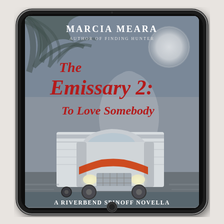[Figure (illustration): A tablet device (iPad-style, black frame with silver edge, home button at bottom) displayed at a slight angle, showing the book cover of 'The Emissary 2: To Love Somebody' by Marcia Meara. The cover features a moody grey scene with a large semi-truck driving toward the viewer, a full moon in the upper right, palm tree fronds in the upper left, and a faint angelic figure in the background. The cover text reads 'MARCIA MEARA' and 'AUTHOR OF FINDING HUNTER' at the top in white, 'The Emissary 2: To Love Somebody' in large red script in the center, and 'A Riverbend Spinoff Novella' at the bottom in white serif text. The tablet is set against a light textured off-white/linen background.]